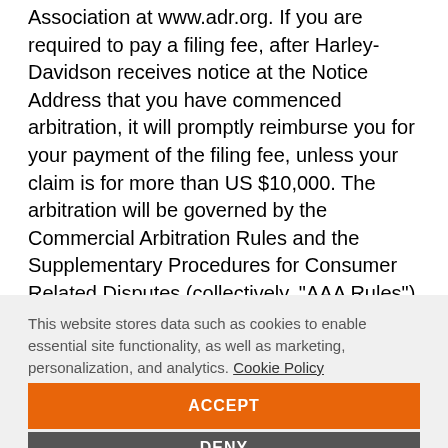Association at www.adr.org. If you are required to pay a filing fee, after Harley-Davidson receives notice at the Notice Address that you have commenced arbitration, it will promptly reimburse you for your payment of the filing fee, unless your claim is for more than US $10,000. The arbitration will be governed by the Commercial Arbitration Rules and the Supplementary Procedures for Consumer Related Disputes (collectively, "AAA Rules") of the American Arbitration Association ("AAA"), as modified by these Terms of Use, and will be administered by the AAA. The AAA Rules and Forms are available online at www.adr.org, by
This website stores data such as cookies to enable essential site functionality, as well as marketing, personalization, and analytics. Cookie Policy
ACCEPT
DENY